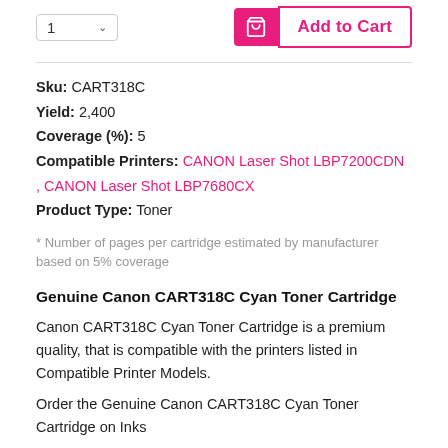[Figure (screenshot): Quantity selector box showing '1' with dropdown arrow, and an Add to Cart button with pink shopping cart icon on the left and pink bordered 'Add to Cart' text on the right]
Sku: CART318C
Yield: 2,400
Coverage (%): 5
Compatible Printers: CANON Laser Shot LBP7200CDN , CANON Laser Shot LBP7680CX
Product Type: Toner
* Number of pages per cartridge estimated by manufacturer based on 5% coverage
Genuine Canon CART318C Cyan Toner Cartridge
Canon CART318C Cyan Toner Cartridge is a premium quality, that is compatible with the printers listed in Compatible Printer Models.
Order the Genuine Canon CART318C Cyan Toner Cartridge on Inks